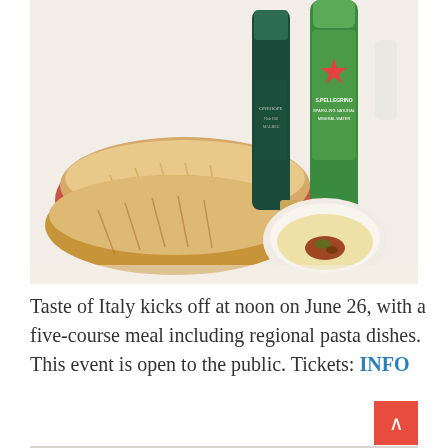[Figure (photo): Photo of bread loaves in a basket with dipping oil and herbs in a white bowl, alongside a dark green wine bottle labeled ONEHOPE and a green San Pellegrino sparkling water bottle on a white tablecloth.]
Taste of Italy kicks off at noon on June 26, with a five-course meal including regional pasta dishes. This event is open to the public. Tickets: INFO
[Figure (photo): Blurred photo of a floral centerpiece with white and lavender roses and green accents at what appears to be an event or banquet setting.]